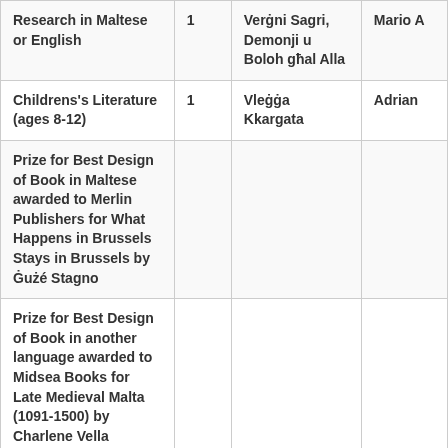| Category | No. | Title | Author |
| --- | --- | --- | --- |
| Research in Maltese or English | 1 | Verġni Sagri, Demonji u Boloh għal Alla | Mario A |
| Childrens's Literature (ages 8-12) | 1 | Vleġġa Kkargata | Adrian |
| Prize for Best Design of Book in Maltese awarded to Merlin Publishers for What Happens in Brussels Stays in Brussels by Ġużé Stagno |  |  |  |
| Prize for Best Design of Book in another language awarded to  Midsea Books for Late Medieval Malta (1091-1500) by Charlene Vella |  |  |  |
| Prize for Best Illustrator of |  |  |  |